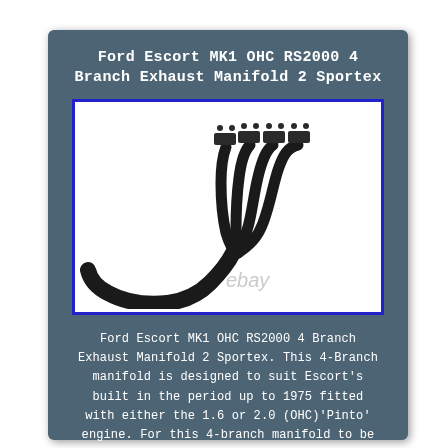Ford Escort MK1 OHC RS2000 4 Branch Exhaust Manifold 2 Sportex
[Figure (photo): Product photo of a black 4-branch exhaust manifold (headers) for Ford Escort MK1 OHC RS2000, with 'ebay' watermark visible]
Ford Escort MK1 OHC RS2000 4 Branch Exhaust Manifold 2 Sportex. This 4-Branch manifold is designed to suit Escort's built in the period up to 1975 fitted with either the 1.6 or 2.0 (OHC)'Pinto' engine. For this 4-branch manifold to be